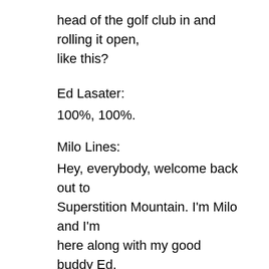head of the golf club in and rolling it open, like this?
Ed Lasater:
100%, 100%.
Milo Lines:
Hey, everybody, welcome back out to Superstition Mountain. I'm Milo and I'm here along with my good buddy Ed.
Ed Lasater:
Ho are you doing, sir?
Milo Lines:
And Ed is a team member of